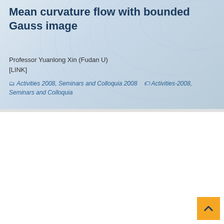Mean curvature flow with bounded Gauss image
Professor Yuanlong Xin (Fudan U)
[LINK]
Activities 2008, Seminars and Colloquia 2008  Activities-2008, Seminars and Colloquia
Malmquist-type theorems for second-order ODEs
Professor Edmund Y.M. Chiang (HKUST)
[LINK]
Activities 2008, Seminars and Colloquia 2008  Activities-2008, Seminars and Colloquia